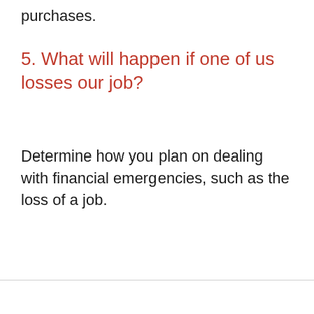purchases.
5. What will happen if one of us losses our job?
Determine how you plan on dealing with financial emergencies, such as the loss of a job.